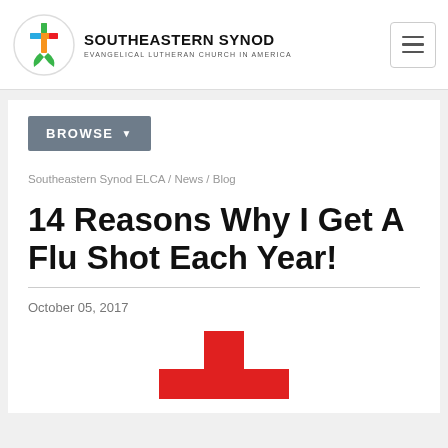SOUTHEASTERN SYNOD EVANGELICAL LUTHERAN CHURCH IN AMERICA
BROWSE
Southeastern Synod ELCA / News / Blog
14 Reasons Why I Get A Flu Shot Each Year!
October 05, 2017
[Figure (illustration): Red cross / medical cross symbol, partially visible at bottom of page]